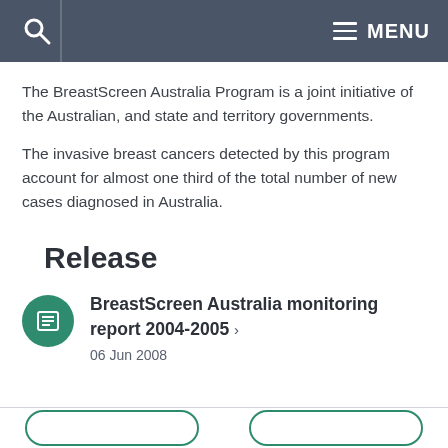MENU
The BreastScreen Australia Program is a joint initiative of the Australian, and state and territory governments.
The invasive breast cancers detected by this program account for almost one third of the total number of new cases diagnosed in Australia.
Release
BreastScreen Australia monitoring report 2004-2005 ›
06 Jun 2008